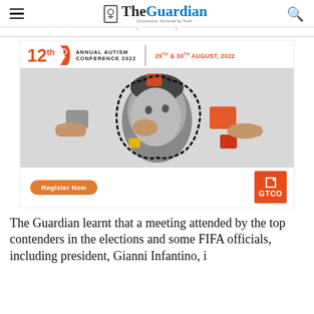The Guardian — Conscience, Nurtured by Truth
[Figure (illustration): 12th Annual Autism Conference 2022 advertisement banner with GTCO sponsor logo, featuring a child peeking through puzzle pieces, hands assembling a puzzle, Register Now button, date 29th & 30th August, 2022]
The Guardian learnt that a meeting attended by the top contenders in the elections and some FIFA officials, including president, Gianni Infantino, i